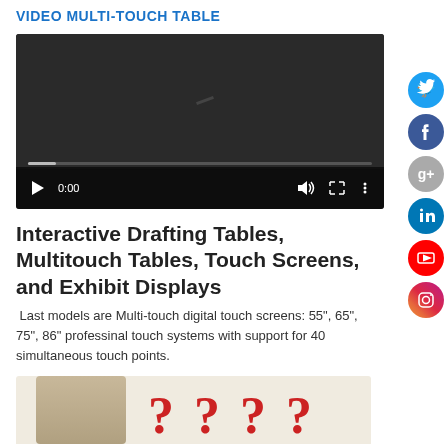VIDEO MULTI-TOUCH TABLE
[Figure (screenshot): Embedded video player with dark background, showing playback controls including play button, time display 0:00, volume icon, fullscreen icon, and menu icon, with a progress bar at the bottom.]
[Figure (other): Column of social media icon circles on the right sidebar: Twitter (blue), Facebook (dark blue), Google+ (gray), LinkedIn (blue), YouTube (red), Instagram (gradient).]
Interactive Drafting Tables, Multitouch Tables, Touch Screens, and Exhibit Displays
Last models are Multi-touch digital touch screens: 55", 65", 75", 86" professinal touch systems with support for 40 simultaneous touch points.
[Figure (photo): Bottom portion of a photo showing a person with hand on head and large red question marks.]